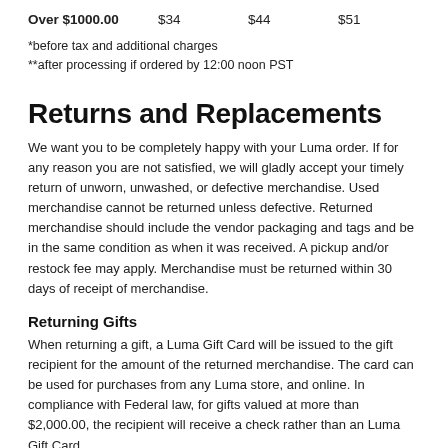| Over $1000.00 | $34 | $44 | $51 |
*before tax and additional charges
**after processing if ordered by 12:00 noon PST
Returns and Replacements
We want you to be completely happy with your Luma order. If for any reason you are not satisfied, we will gladly accept your timely return of unworn, unwashed, or defective merchandise. Used merchandise cannot be returned unless defective. Returned merchandise should include the vendor packaging and tags and be in the same condition as when it was received. A pickup and/or restock fee may apply. Merchandise must be returned within 30 days of receipt of merchandise.
Returning Gifts
When returning a gift, a Luma Gift Card will be issued to the gift recipient for the amount of the returned merchandise. The card can be used for purchases from any Luma store, and online. In compliance with Federal law, for gifts valued at more than $2,000.00, the recipient will receive a check rather than an Luma Gift Card.